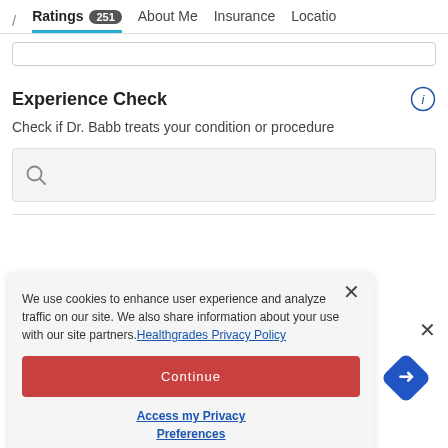/ Ratings 251   About Me   Insurance   Locatio
Experience Check
Check if Dr. Babb treats your condition or procedure
[Figure (screenshot): Search box with magnifying glass icon on light gray background]
We use cookies to enhance user experience and analyze traffic on our site. We also share information about your use with our site partners. Healthgrades Privacy Policy
Continue
Access my Privacy Preferences
Dr. Babb accepts most major insurance plans.